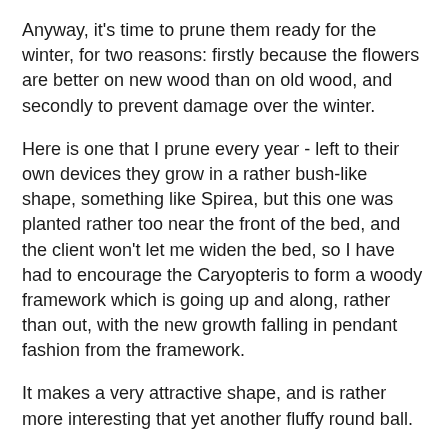Anyway, it's time to prune them ready for the winter, for two reasons: firstly because the flowers are better on new wood than on old wood, and secondly to prevent damage over the winter.
Here is one that I prune every year - left to their own devices they grow in a rather bush-like shape, something like Spirea, but this one was planted rather too near the front of the bed, and the client won't let me widen the bed, so I have had to encourage the Caryopteris to form a woody framework which is going up and along, rather than out, with the new growth falling in pendant fashion from the framework.
It makes a very attractive shape, and is rather more interesting that yet another fluffy round ball.
Here it is "before" - a rather tangled mess, looking quite bedraggled as the flowers have all finished and dried off to brown fluff. Normally with anything grown as a pendant, such as willow-leaved pear, that miniature weeping willow Salix caprea 'Kilmarnock' and so on, the aim is for a "light airy curtain of fall"...